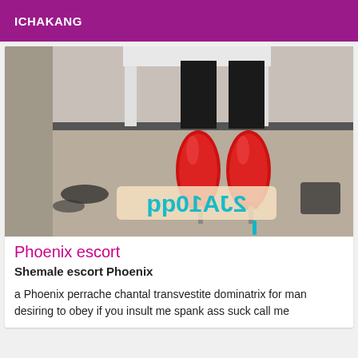ICHAKANG
[Figure (photo): Photo showing red high-heel shoes/boots worn by a person seated on a white chair, with a mirrored/watermark overlay text visible on the lower portion of the image]
Phoenix escort
Shemale escort Phoenix
a Phoenix perrache chantal transvestite dominatrix for man desiring to obey if you insult me spank ass suck call me